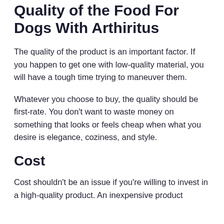Quality of the Food For Dogs With Arthiritus
The quality of the product is an important factor. If you happen to get one with low-quality material, you will have a tough time trying to maneuver them.
Whatever you choose to buy, the quality should be first-rate. You don't want to waste money on something that looks or feels cheap when what you desire is elegance, coziness, and style.
Cost
Cost shouldn't be an issue if you're willing to invest in a high-quality product. An inexpensive product